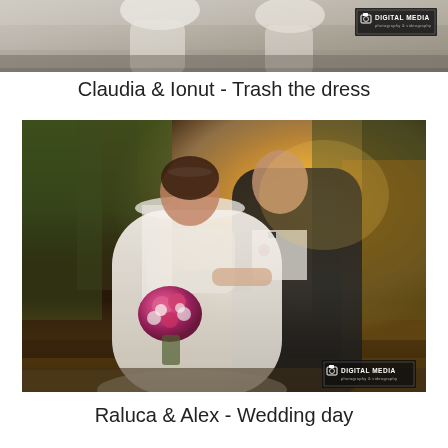[Figure (photo): Top partial wedding/trash-the-dress photo showing two people in white dresses against a stone background, with Digital Media logo watermark in bottom right corner]
Claudia & Ionut - Trash the dress
[Figure (photo): Wedding day photo of bride in white lace gown holding pink flower bouquet, groom in black tuxedo with bow tie, embracing outdoors in golden sunset light with green trees in background. Digital Media logo watermark in bottom right corner.]
Raluca & Alex - Wedding day